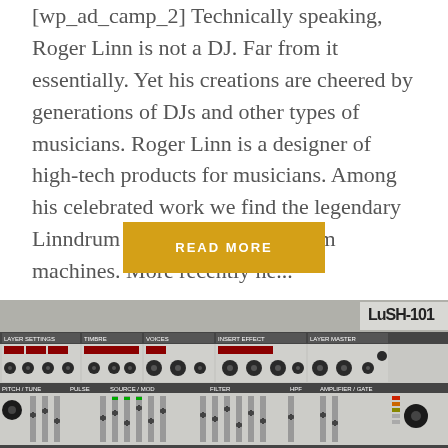[wp_ad_camp_2] Technically speaking, Roger Linn is not a DJ. Far from it essentially. Yet his creations are cheered by generations of DJs and other types of musicians. Roger Linn is a designer of high-tech products for musicians. Among his celebrated work we find the legendary Linndrum and Akai MPC 60 drum machines. More recently he...
READ MORE
[Figure (photo): Photo of the LuSH-101 synthesizer interface showing layer settings, timbre, voices, insert effect, layer master, pitch/tune, pulse, source/mod, filter, HPF, amplifier/gate, bender, wheel, amp, env1, env2, lfo1, lfo2 sections with various knobs, faders, and LED displays on a grey panel.]